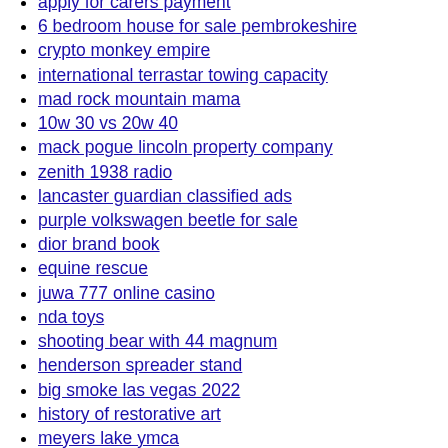apply for carers payment
6 bedroom house for sale pembrokeshire
crypto monkey empire
international terrastar towing capacity
mad rock mountain mama
10w 30 vs 20w 40
mack pogue lincoln property company
zenith 1938 radio
lancaster guardian classified ads
purple volkswagen beetle for sale
dior brand book
equine rescue
juwa 777 online casino
nda toys
shooting bear with 44 magnum
henderson spreader stand
big smoke las vegas 2022
history of restorative art
meyers lake ymca
2 dpo diarrhea
bmf where to watch
deaths in ventura county today
lake arrowhead thanksgiving 2021
hanover township townhomes
spn 1807 fmi 12
black dog ranch